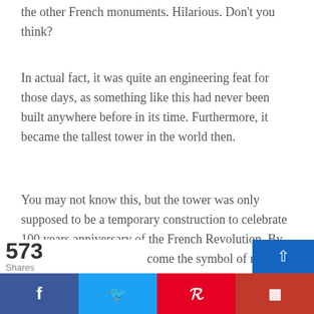the other French monuments. Hilarious. Don't you think?
In actual fact, it was quite an engineering feat for those days, as something like this had never been built anywhere before in its time. Furthermore, it became the tallest tower in the world then.
You may not know this, but the tower was only supposed to be a temporary construction to celebrate 100 years anniversary of the French Revolution. By the early 1900's it had become the symbol of not only Paris, but all of France. This is a prime reason why you must see the tower. It represe...
573 Shares | Social share bar: Facebook, Twitter, Pinterest, Flipboard